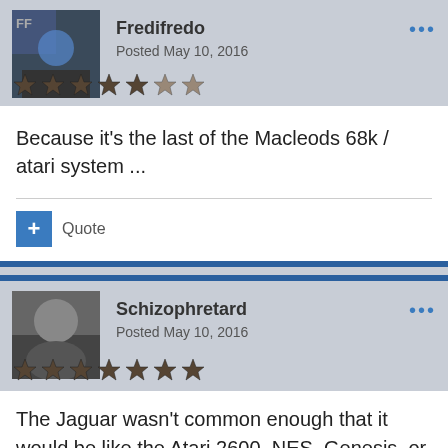Fredifredo
Posted May 10, 2016
Because it's the last of the Macleods 68k / atari system ...
+ Quote
Schizophretard
Posted May 10, 2016
The Jaguar wasn't common enough that it would be like the Atari 2600, NES, Genesis, or whatever in the sense that millions would be stored away in garages and attics for decades to later return to the wild to gain some more